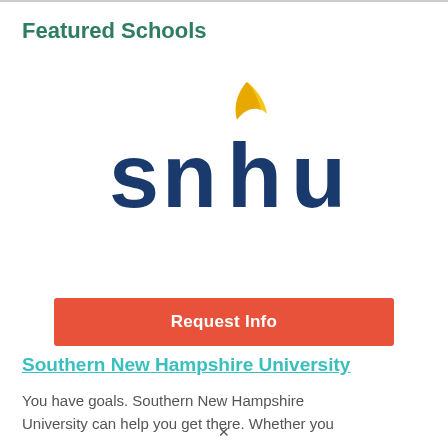Featured Schools
[Figure (logo): SNHU logo — bold dark blue letters 'snhu' with a golden yellow leaf/flame above the 'h']
Request Info
Southern New Hampshire University
You have goals. Southern New Hampshire University can help you get there. Whether you